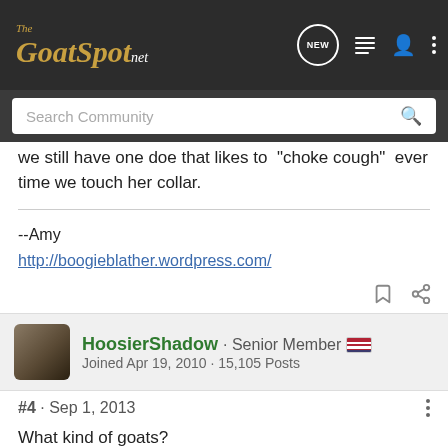The GoatSpot.net — navigation bar with Search Community
we still have one doe that likes to  choke cough  ever time we touch her collar.
--Amy
http://boogieblather.wordpress.com/
HoosierShadow · Senior Member
Joined Apr 19, 2010 · 15,105 Posts
#4 · Sep 1, 2013
What kind of goats?
What kind of classes/etc. is she wanting to show in?